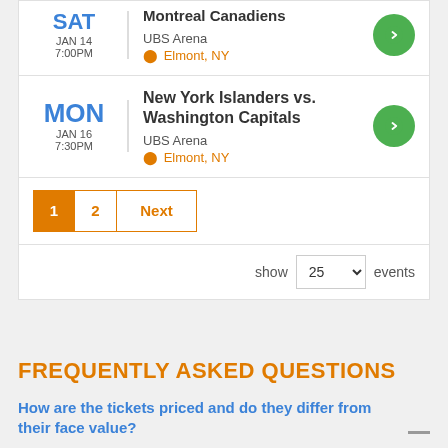SAT JAN 14 7:00PM — Montreal Canadiens, UBS Arena, Elmont, NY
MON JAN 16 7:30PM — New York Islanders vs. Washington Capitals, UBS Arena, Elmont, NY
Pagination: 1, 2, Next | show 25 events
FREQUENTLY ASKED QUESTIONS
How are the tickets priced and do they differ from their face value?